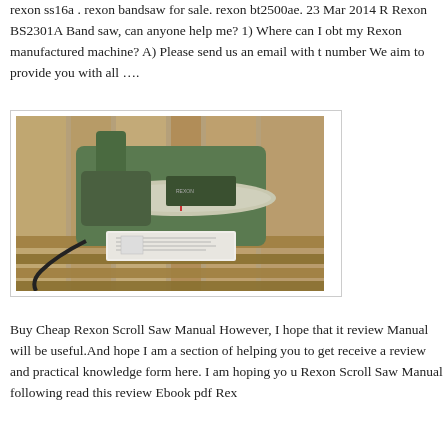rexon ss16a . rexon bandsaw for sale. rexon bt2500ae. 23 Mar 2014 Rexon BS2301A Band saw, can anyone help me? 1) Where can I obtain my Rexon manufactured machine? A) Please send us an email with the number We aim to provide you with all ….
[Figure (photo): A green Rexon scroll saw / band saw machine sitting on wooden pallets with a power cord and instruction manual document visible underneath it.]
Buy Cheap Rexon Scroll Saw Manual However, I hope that it review Manual will be useful.And hope I am a section of helping you to get receive a review and practical knowledge form here. I am hoping you Rexon Scroll Saw Manual following read this review Ebook pdf Rex